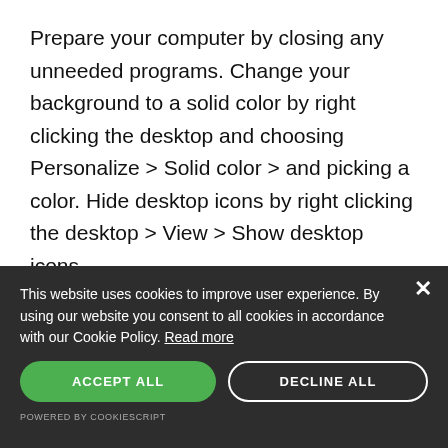Prepare your computer by closing any unneeded programs. Change your background to a solid color by right clicking the desktop and choosing Personalize > Solid color > and picking a color. Hide desktop icons by right clicking the desktop > View > Show desktop icons.
Some people prefer to hide the date and time to keep their videos from appearing old. Right click the Taskbar > Taskbar settings > scroll down to “Turn system icons on or off” > turn the Clock to “Off.” Alternatively, you
This website uses cookies to improve user experience. By using our website you consent to all cookies in accordance with our Cookie Policy. Read more